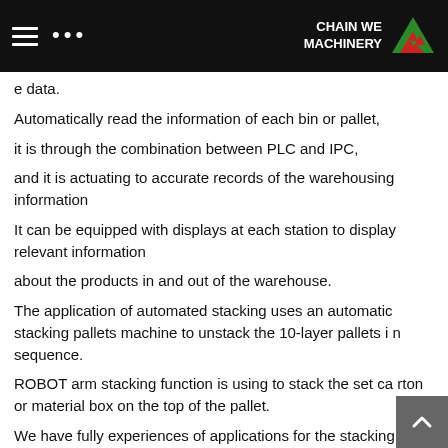CHAIN WE MACHINERY
e data.
Automatically read the information of each bin or pallet,
it is through the combination between PLC and IPC,
and it is actuating to accurate records of the warehousing information
It can be equipped with displays at each station to display relevant information
about the products in and out of the warehouse.
The application of automated stacking uses an automatic stacking pallets machine to unstack the 10-layer pallets in sequence.
ROBOT arm stacking function is using to stack the set carton or material box on the top of the pallet.
We have fully experiences of applications for the stacking function of major brands ROBOTS and
it can set various stacking arrangements with reaching th